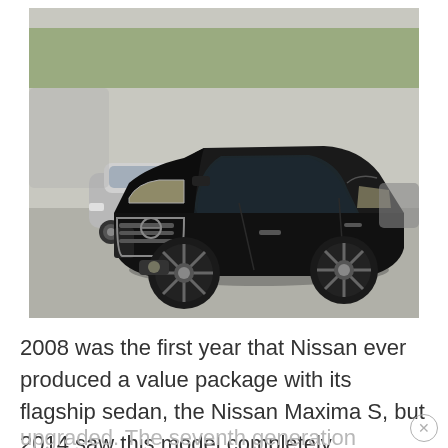[Figure (photo): A black Nissan Maxima S sedan parked in a car dealership lot, front three-quarter view. A silver Ford Mustang is partially visible on the left. Other vehicles are visible in the background.]
2008 was the first year that Nissan ever produced a value package with its flagship sedan, the Nissan Maxima S, but 2014 saw this model completely upgraded. The seventh generation